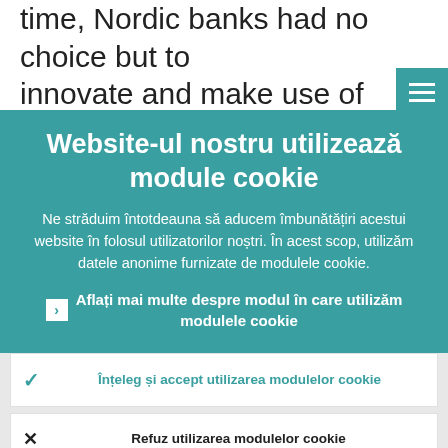time, Nordic banks had no choice but to innovate and make use of technology to become more efficient.
Website-ul nostru utilizează module cookie
Ne străduim întotdeauna să aducem îmbunătățiri acestui website în folosul utilizatorilor noștri. În acest scop, utilizăm datele anonime furnizate de modulele cookie.
Aflați mai multe despre modul în care utilizăm modulele cookie
Înțeleg și accept utilizarea modulelor cookie
Refuz utilizarea modulelor cookie